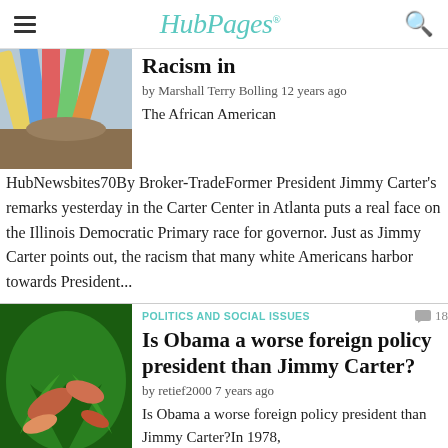HubPages
Racism in
by Marshall Terry Bolling 12 years ago
The African American HubNewsbites70By Broker-TradeFormer President Jimmy Carter's remarks yesterday in the Carter Center in Atlanta puts a real face on the Illinois Democratic Primary race for governor. Just as Jimmy Carter points out, the racism that many white Americans harbor towards President...
POLITICS AND SOCIAL ISSUES
Is Obama a worse foreign policy president than Jimmy Carter?
by retief2000 7 years ago
Is Obama a worse foreign policy president than Jimmy Carter?In 1978, then United States President, Jimmy Carter hosted peace talks between Israel and Egypt resulting in a peace that has